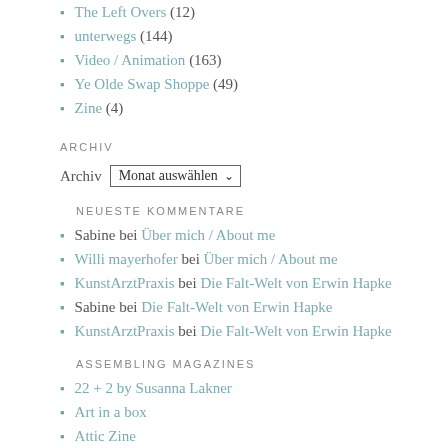The Left Overs (12)
unterwegs (144)
Video / Animation (163)
Ye Olde Swap Shoppe (49)
Zine (4)
ARCHIV
Archiv  Monat auswählen
NEUESTE KOMMENTARE
Sabine bei Über mich / About me
Willi mayerhofer bei Über mich / About me
KunstArztPraxis bei Die Falt-Welt von Erwin Hapke
Sabine bei Die Falt-Welt von Erwin Hapke
KunstArztPraxis bei Die Falt-Welt von Erwin Hapke
ASSEMBLING MAGAZINES
22 + 2 by Susanna Lakner
Art in a box
Attic Zine